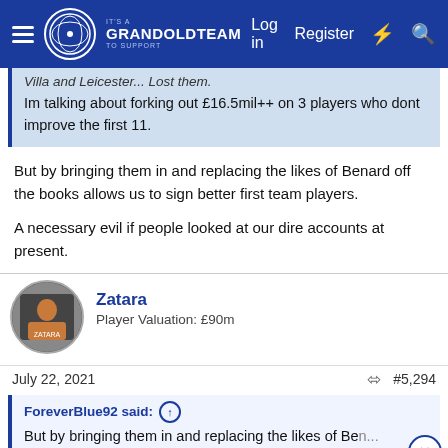GrandOldTeam - Log in - Register
Villa and Leicester... Lost them.
Im talking about forking out £16.5mil++ on 3 players who dont improve the first 11.
But by bringing them in and replacing the likes of Benard off the books allows us to sign better first team players.

A necessary evil if people looked at our dire accounts at present.
Zatara
Player Valuation: £90m
July 22, 2021
#5,294
ForeverBlue92 said:
But by bringing them in and replacing the likes of Be...